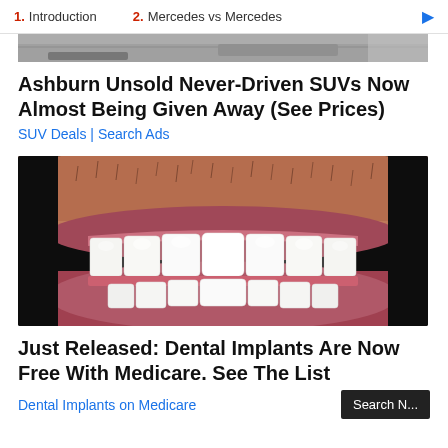1. Introduction   2. Mercedes vs Mercedes
[Figure (photo): Top portion of a car photo, partially cropped]
Ashburn Unsold Never-Driven SUVs Now Almost Being Given Away (See Prices)
SUV Deals | Search Ads
[Figure (photo): Close-up photo of a man's mouth showing dental implants/teeth with stubble visible]
Just Released: Dental Implants Are Now Free With Medicare. See The List
Dental Implants on Medicare